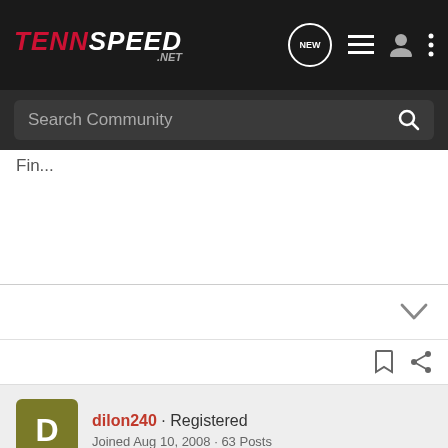TennSpeed.net — navigation bar with logo and icons
Search Community
Fin...
dilon240 · Registered · Joined Aug 10, 2008 · 63 Posts
Discussion Starter · #15 · Aug 11, 2008
hey